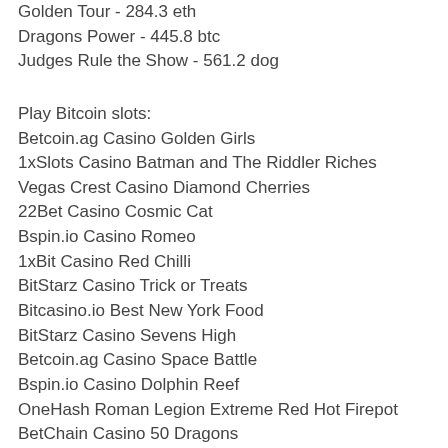Golden Tour - 284.3 eth
Dragons Power - 445.8 btc
Judges Rule the Show - 561.2 dog
Play Bitcoin slots:
Betcoin.ag Casino Golden Girls
1xSlots Casino Batman and The Riddler Riches
Vegas Crest Casino Diamond Cherries
22Bet Casino Cosmic Cat
Bspin.io Casino Romeo
1xBit Casino Red Chilli
BitStarz Casino Trick or Treats
Bitcasino.io Best New York Food
BitStarz Casino Sevens High
Betcoin.ag Casino Space Battle
Bspin.io Casino Dolphin Reef
OneHash Roman Legion Extreme Red Hot Firepot
BetChain Casino 50 Dragons
CryptoWild Casino Sweet Life 2